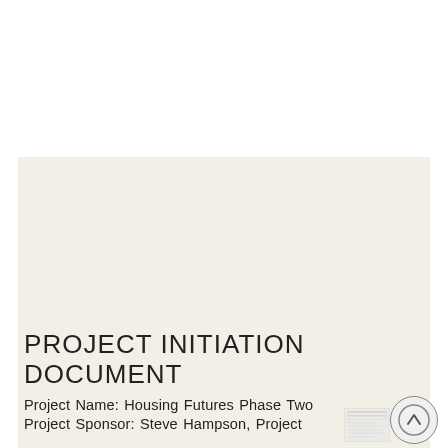PROJECT INITIATION DOCUMENT
Project Name: Housing Futures Phase Two
Project Sponsor: Steve Hampson, Project
[Figure (screenshot): Small thumbnail preview of a document page shown in lower right area]
[Figure (other): Circular scroll-to-top button with upward chevron arrow, bottom right corner]